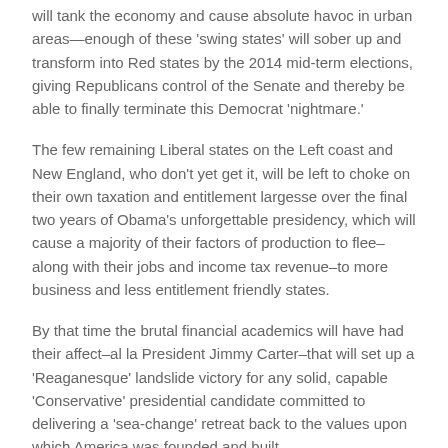will tank the economy and cause absolute havoc in urban areas—enough of these 'swing states' will sober up and transform into Red states by the 2014 mid-term elections, giving Republicans control of the Senate and thereby be able to finally terminate this Democrat 'nightmare.'
The few remaining Liberal states on the Left coast and New England, who don't yet get it, will be left to choke on their own taxation and entitlement largesse over the final two years of Obama's unforgettable presidency, which will cause a majority of their factors of production to flee–along with their jobs and income tax revenue–to more business and less entitlement friendly states.
By that time the brutal financial academics will have had their affect–al la President Jimmy Carter–that will set up a 'Reaganesque' landslide victory for any solid, capable 'Conservative' presidential candidate committed to delivering a 'sea-change' retreat back to the values upon which America was founded and built.